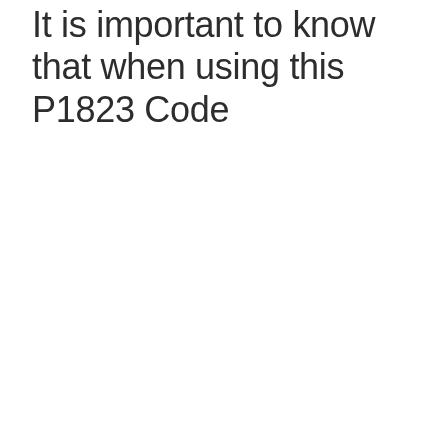It is important to know that when using this P1823 Code